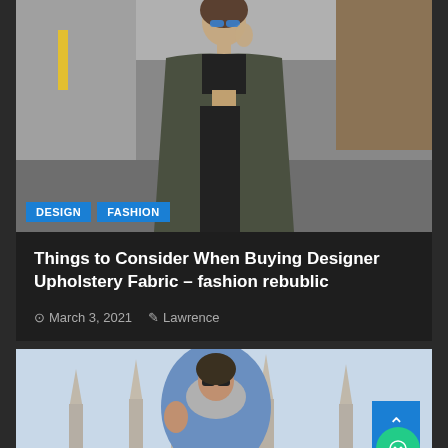[Figure (photo): Fashion model wearing dark olive coat over black crop top and pants, sunglasses, standing on a street]
DESIGN   FASHION
Things to Consider When Buying Designer Upholstery Fabric – fashion rebublic
March 3, 2021   Lawrence
[Figure (photo): Person in light blue jacket and gray scarf with sunglasses in front of a gothic cathedral]